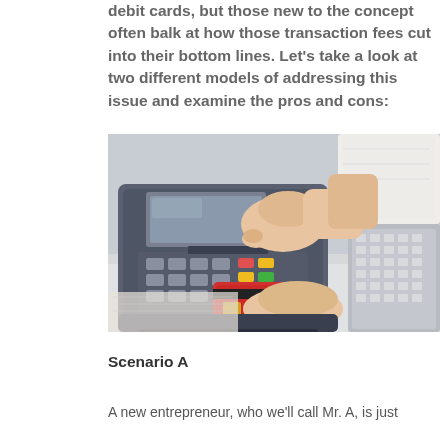debit cards, but those new to the concept often balk at how those transaction fees cut into their bottom lines. Let's take a look at two different models of addressing this issue and examine the pros and cons:
[Figure (photo): A hand pressing buttons on a credit card payment terminal/POS machine with a red credit card being held below, and a keyboard visible in the background.]
Scenario A
A new entrepreneur, who we'll call Mr. A, is just